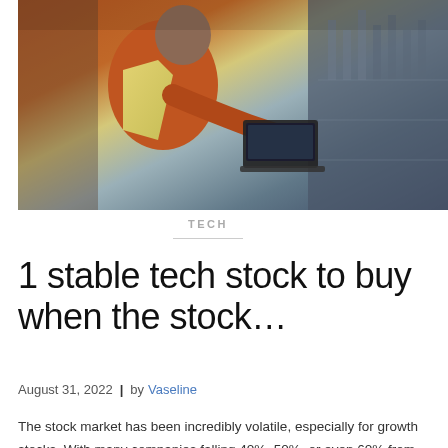[Figure (photo): A person wearing an orange jacket and yellow safety vest using a laptop outdoors, with industrial or urban buildings in the background. The right portion of the image is darker with a blueish-grey building facade.]
TECH
1 stable tech stock to buy when the stock…
August 31, 2022  |  by Vaseline
The stock market has been incredibly volatile, especially for growth stocks. With many companies falling 40%, 50%, or even 60% from their all-time highs, it can be painful to endure those hefty losses. As a result, many